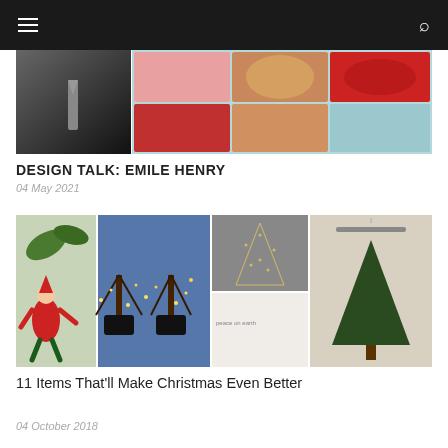Navigation bar with hamburger menu and search icon
[Figure (photo): Collage image for Design Talk: Emile Henry article, showing a person in a suit on the left and colorful cookware/food on a teal background on the right]
DESIGN TALK: EMILE HENRY
04 May 2021
[Figure (photo): Collage of four Christmas-themed images: a red elf ornament on a plant, lit decorative trees on blue background, glittery Christmas tree on gray, and a wall-hung Christmas tree decoration]
11 Items That'll Make Christmas Even Better
04 October 2018